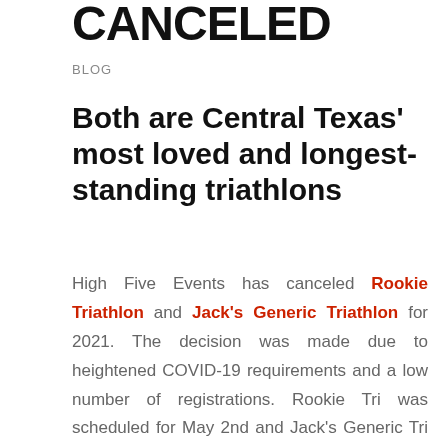CANCELED
BLOG
Both are Central Texas' most loved and longest-standing triathlons
High Five Events has canceled Rookie Triathlon and Jack's Generic Triathlon for 2021. The decision was made due to heightened COVID-19 requirements and a low number of registrations. Rookie Tri was scheduled for May 2nd and Jack's Generic Tri was scheduled for August 29th. Registrants of these two canceled events will have the option to transfer their registration to any High Five